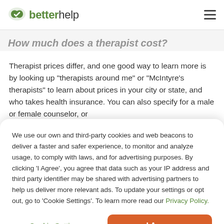betterhelp
How much does a therapist cost?
Therapist prices differ, and one good way to learn more is by looking up "therapists around me" or "McIntyre's therapists" to learn about prices in your city or state, and who takes health insurance. You can also specify for a male or female counselor, or
We use our own and third-party cookies and web beacons to deliver a faster and safer experience, to monitor and analyze usage, to comply with laws, and for advertising purposes. By clicking 'I Agree', you agree that data such as your IP address and third party identifier may be shared with advertising partners to help us deliver more relevant ads. To update your settings or opt out, go to 'Cookie Settings'. To learn more read our Privacy Policy.
Cookie Settings
I Agree